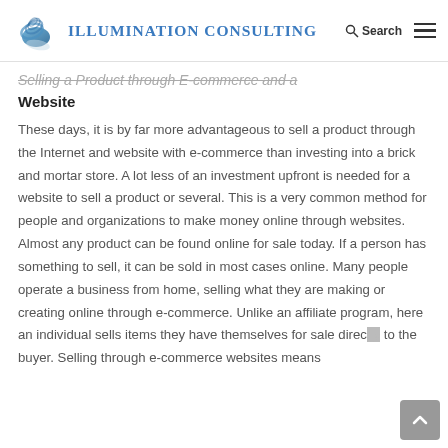Illumination Consulting
Selling a Product through E-commerce and a Website
These days, it is by far more advantageous to sell a product through the Internet and website with e-commerce than investing into a brick and mortar store. A lot less of an investment upfront is needed for a website to sell a product or several. This is a very common method for people and organizations to make money online through websites. Almost any product can be found online for sale today. If a person has something to sell, it can be sold in most cases online. Many people operate a business from home, selling what they are making or creating online through e-commerce. Unlike an affiliate program, here an individual sells items they have themselves for sale directly to the buyer. Selling through e-commerce websites means